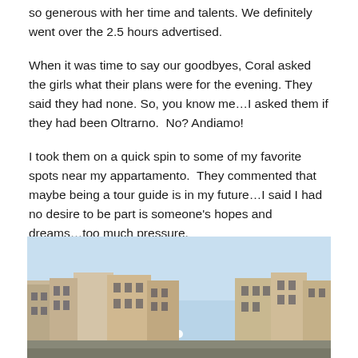so generous with her time and talents. We definitely went over the 2.5 hours advertised.
When it was time to say our goodbyes, Coral asked the girls what their plans were for the evening. They said they had none. So, you know me…I asked them if they had been Oltrarno.  No? Andiamo!
I took them on a quick spin to some of my favorite spots near my appartamento.  They commented that maybe being a tour guide is in my future…I said I had no desire to be part is someone's hopes and dreams…too much pressure.
[Figure (photo): Street-level view of Florentine buildings along the Oltrarno neighborhood with a light blue sky above and a moon visible in the sky.]